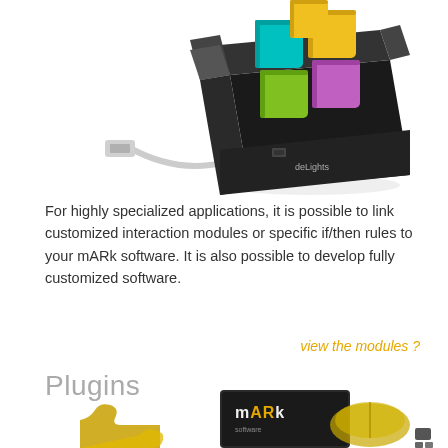[Figure (illustration): A black open box with colorful cube-shaped icons (teal, yellow, green, purple) coming out of the top, and a white USB cable connected to the side. The box has a 'deLights' logo label. The scene suggests a plug-in or module concept.]
For highly specialized applications, it is possible to link customized interaction modules or specific if/then rules to your mARk software. It is also possible to develop fully customized software.
view the modules ?
Plugins
[Figure (photo): A mARk software product box and a computer mouse, partially visible at the bottom of the page, alongside golden puzzle pieces.]